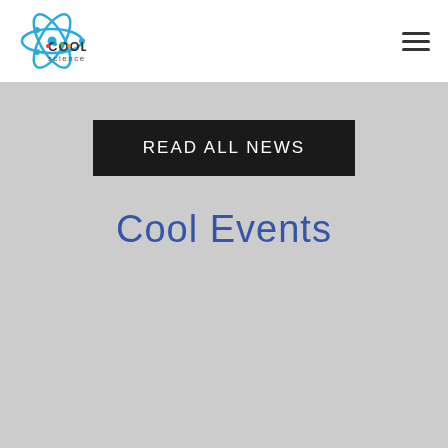[Figure (logo): Cool Science logo with atom graphic and colorful dots in the word 'cool']
READ ALL NEWS
Cool Events